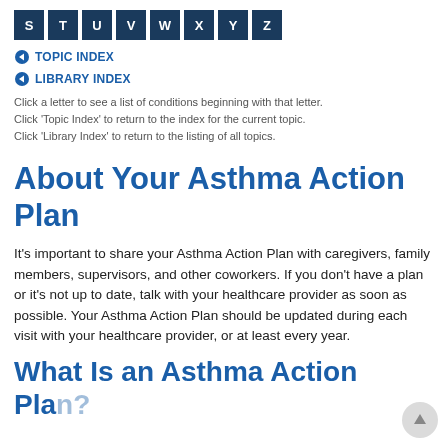[Figure (other): Alphabetical navigation bar with dark blue letter tiles: S T U V W X Y Z]
◀ TOPIC INDEX
◀ LIBRARY INDEX
Click a letter to see a list of conditions beginning with that letter.
Click 'Topic Index' to return to the index for the current topic.
Click 'Library Index' to return to the listing of all topics.
About Your Asthma Action Plan
It's important to share your Asthma Action Plan with caregivers, family members, supervisors, and other coworkers. If you don't have a plan or it's not up to date, talk with your healthcare provider as soon as possible. Your Asthma Action Plan should be updated during each visit with your healthcare provider, or at least every year.
What Is an Asthma Action Plan?